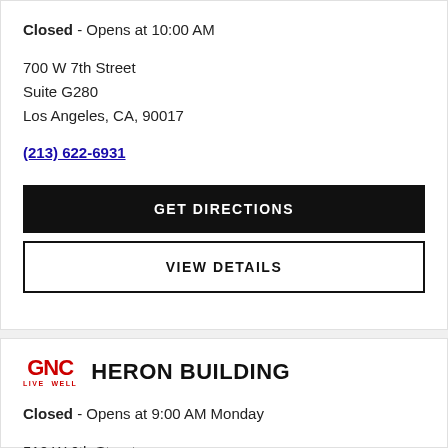Closed - Opens at 10:00 AM
700 W 7th Street
Suite G280
Los Angeles, CA, 90017
(213) 622-6931
GET DIRECTIONS
VIEW DETAILS
[Figure (logo): GNC Live Well logo in red]
HERON BUILDING
Closed - Opens at 9:00 AM Monday
510 W 6th Street
Los Angeles, CA, 90014